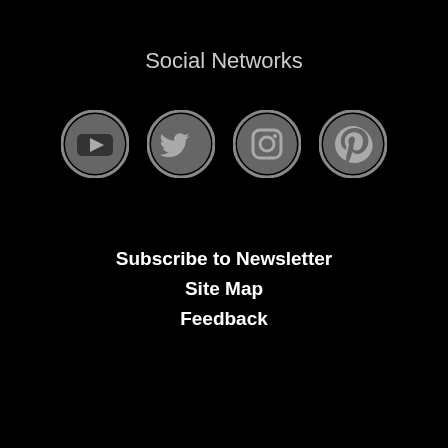Social Networks
[Figure (illustration): Four circular social media icons in gray: YouTube, Twitter, Instagram, Pinterest]
Subscribe to Newsletter
Site Map
Feedback